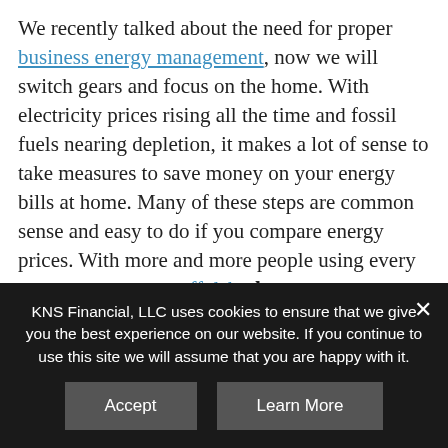We recently talked about the need for proper business energy management, now we will switch gears and focus on the home. With electricity prices rising all the time and fossil fuels nearing depletion, it makes a lot of sense to take measures to save money on your energy bills at home. Many of these steps are common sense and easy to do if you compare energy prices. With more and more people using every extra penny to pay off debt, home energy management is becoming more important than ever. Here are some tips to reduce energy costs
KNS Financial, LLC uses cookies to ensure that we give you the best experience on our website. If you continue to use this site we will assume that you are happy with it.